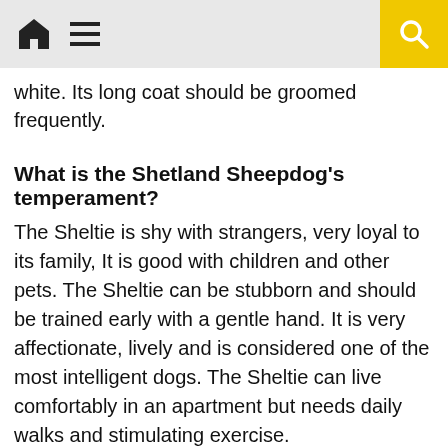[home icon] [menu icon] [search icon]
white. Its long coat should be groomed frequently.
What is the Shetland Sheepdog's temperament?
The Sheltie is shy with strangers, very loyal to its family, It is good with children and other pets. The Sheltie can be stubborn and should be trained early with a gentle hand. It is very affectionate, lively and is considered one of the most intelligent dogs. The Sheltie can live comfortably in an apartment but needs daily walks and stimulating exercise.
What are the Shetland Sheepdog's uses?
Despite its small size the Sheltie is a working dog. It has been used to herd cattle and sheep. It is also a good